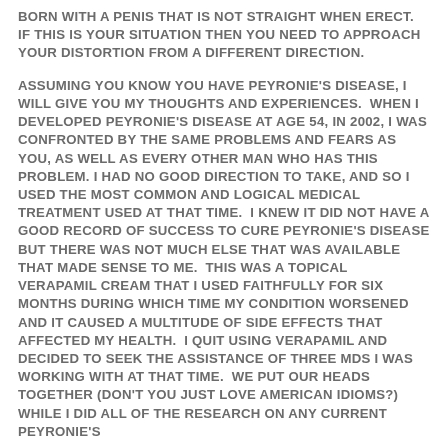BORN WITH A PENIS THAT IS NOT STRAIGHT WHEN ERECT. IF THIS IS YOUR SITUATION THEN YOU NEED TO APPROACH YOUR DISTORTION FROM A DIFFERENT DIRECTION.
ASSUMING YOU KNOW YOU HAVE PEYRONIE'S DISEASE, I WILL GIVE YOU MY THOUGHTS AND EXPERIENCES. WHEN I DEVELOPED PEYRONIE'S DISEASE AT AGE 54, IN 2002, I WAS CONFRONTED BY THE SAME PROBLEMS AND FEARS AS YOU, AS WELL AS EVERY OTHER MAN WHO HAS THIS PROBLEM. I HAD NO GOOD DIRECTION TO TAKE, AND SO I USED THE MOST COMMON AND LOGICAL MEDICAL TREATMENT USED AT THAT TIME. I KNEW IT DID NOT HAVE A GOOD RECORD OF SUCCESS TO CURE PEYRONIE'S DISEASE BUT THERE WAS NOT MUCH ELSE THAT WAS AVAILABLE THAT MADE SENSE TO ME. THIS WAS A TOPICAL VERAPAMIL CREAM THAT I USED FAITHFULLY FOR SIX MONTHS DURING WHICH TIME MY CONDITION WORSENED AND IT CAUSED A MULTITUDE OF SIDE EFFECTS THAT AFFECTED MY HEALTH. I QUIT USING VERAPAMIL AND DECIDED TO SEEK THE ASSISTANCE OF THREE MDS I WAS WORKING WITH AT THAT TIME. WE PUT OUR HEADS TOGETHER (DON'T YOU JUST LOVE AMERICAN IDIOMS?) WHILE I DID ALL OF THE RESEARCH ON ANY CURRENT PEYRONIE'S